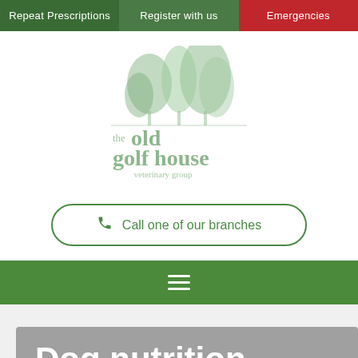Repeat Prescriptions | Register with us | Emergencies
[Figure (logo): The Old Golf House Veterinary Group logo with green tree illustration and text]
Call one of our branches
[Figure (other): Green navigation menu bar with hamburger icon]
Dog nutrition advice